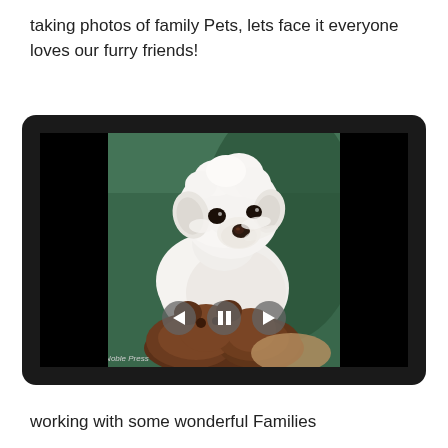taking photos of family Pets, lets face it everyone loves our furry friends!
[Figure (photo): A white fluffy Maltese dog looking up at the camera with a brown stuffed animal toy in the foreground, seated near a green background. The image is displayed in a slideshow player with black letterboxing on left and right sides, navigation controls (back, pause, forward) overlaid at the bottom center, and a copyright watermark '© Noble Press' at the bottom left.]
working with some wonderful Families